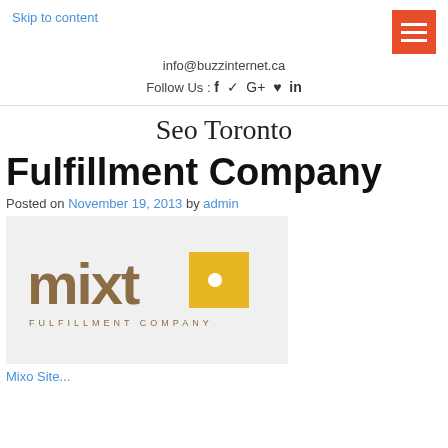Skip to content
info@buzzinternet.ca
Follow Us : f  G+  P  in
Seo Toronto
Fulfillment Company
Posted on November 19, 2013 by admin
[Figure (logo): Mixto Fulfillment Company logo — brown lowercase 'mixt' text with an orange-yellow box containing a white dot forming the 'o', and 'FULFILLMENT COMPANY' in small spaced letters below]
Mixo Site...